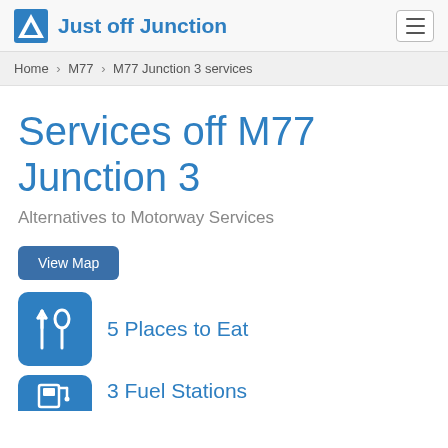Just off Junction
Home > M77 > M77 Junction 3 services
Services off M77 Junction 3
Alternatives to Motorway Services
View Map
5 Places to Eat
3 Fuel Stations